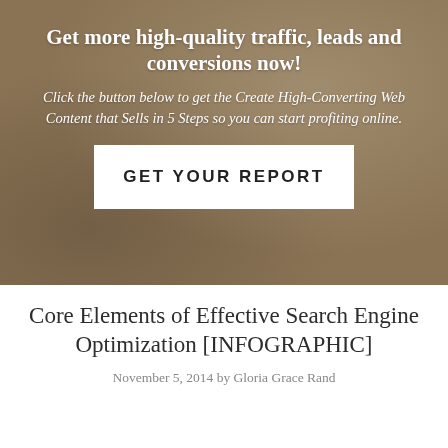[Figure (photo): Hero banner with background photo of a woman working at a desk, overlaid with dark warm-toned overlay. Contains promotional text and a CTA button.]
Get more high-quality traffic, leads and conversions now!
Click the button below to get the Create High-Converting Web Content that Sells in 5 Steps so you can start profiting online.
GET YOUR REPORT
Core Elements of Effective Search Engine Optimization [INFOGRAPHIC]
November 5, 2014 by Gloria Grace Rand